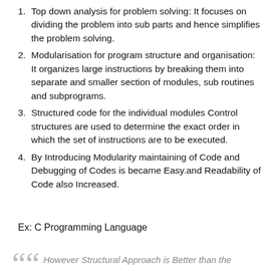Top down analysis for problem solving: It focuses on dividing the problem into sub parts and hence simplifies the problem solving.
Modularisation for program structure and organisation: It organizes large instructions by breaking them into separate and smaller section of modules, sub routines and subprograms.
Structured code for the individual modules Control structures are used to determine the exact order in which the set of instructions are to be executed.
By Introducing Modularity maintaining of Code and Debugging of Codes is became Easy.and Readability of Code also Increased.
Ex: C Programming Language
However Structural Approach is Better than the